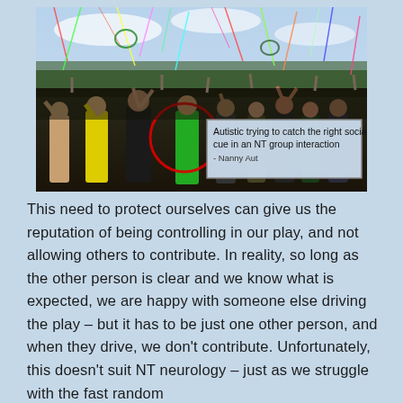[Figure (photo): A large outdoor festival crowd with colorful streamers and confetti in the air. One person in a green shirt is circled in red. An overlaid text box reads: 'Autistic trying to catch the right social cue in an NT group interaction - Nanny Aut']
This need to protect ourselves can give us the reputation of being controlling in our play, and not allowing others to contribute. In reality, so long as the other person is clear and we know what is expected, we are happy with someone else driving the play – but it has to be just one other person, and when they drive, we don't contribute. Unfortunately, this doesn't suit NT neurology – just as we struggle with the fast random